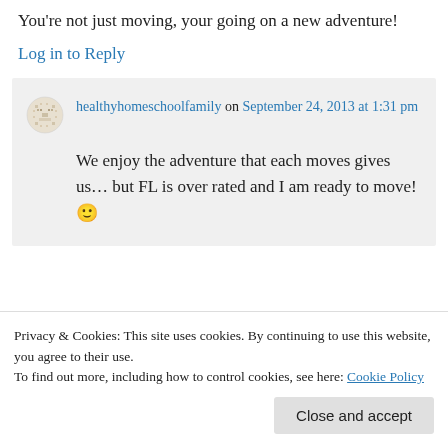You're not just moving, your going on a new adventure!
Log in to Reply
healthyhomeschoolfamily on September 24, 2013 at 1:31 pm
We enjoy the adventure that each moves gives us… but FL is over rated and I am ready to move! 🙂
Privacy & Cookies: This site uses cookies. By continuing to use this website, you agree to their use.
To find out more, including how to control cookies, see here: Cookie Policy
Close and accept